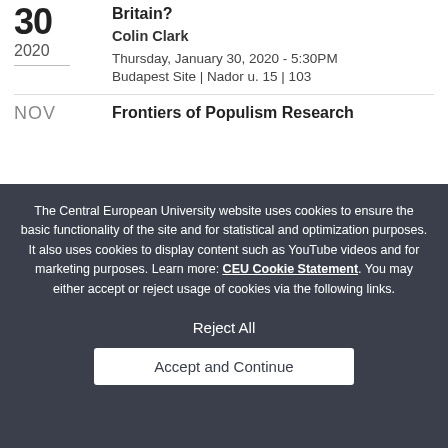30
2020
Britain?
Colin Clark
Thursday, January 30, 2020 - 5:30PM
Budapest Site | Nador u. 15 | 103
NOV
Frontiers of Populism Research
The Central European University website uses cookies to ensure the basic functionality of the site and for statistical and optimization purposes. It also uses cookies to display content such as YouTube videos and for marketing purposes. Learn more: CEU Cookie Statement. You may either accept or reject usage of cookies via the following links.
Reject All
Accept and Continue